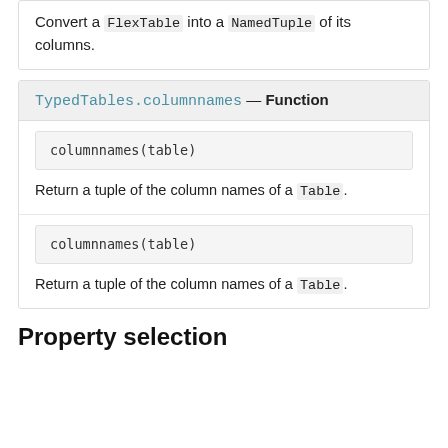Convert a FlexTable into a NamedTuple of its columns.
TypedTables.columnnames — Function
columnnames(table)
Return a tuple of the column names of a Table.
columnnames(table)
Return a tuple of the column names of a Table.
Property selection